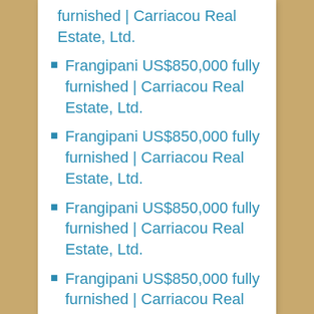furnished | Carriacou Real Estate, Ltd.
Frangipani US$850,000 fully furnished | Carriacou Real Estate, Ltd.
Frangipani US$850,000 fully furnished | Carriacou Real Estate, Ltd.
Frangipani US$850,000 fully furnished | Carriacou Real Estate, Ltd.
Frangipani US$850,000 fully furnished | Carriacou Real Estate, Ltd.
Frangipani US$850,000 fully furnished | Carriacou Real